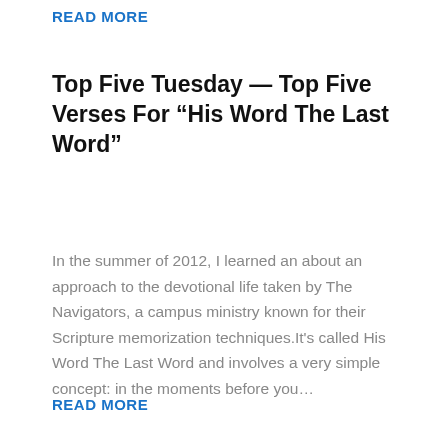READ MORE
Top Five Tuesday — Top Five Verses For “His Word The Last Word”
In the summer of 2012, I learned an about an approach to the devotional life taken by The Navigators, a campus ministry known for their Scripture memorization techniques.It’s called His Word The Last Word and involves a very simple concept: in the moments before you…
READ MORE